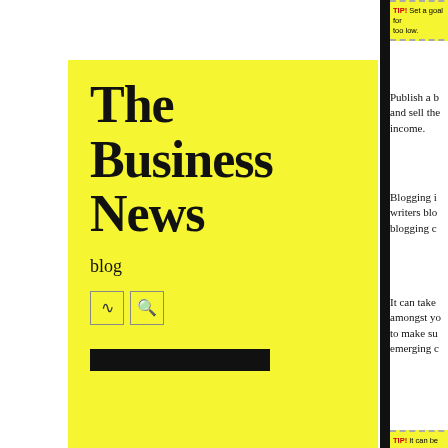[Figure (illustration): Yellow speech bubble containing blog logo and title 'The Business News', subtitle 'blog', RSS and search icons, and a black bar]
The Business News
blog
TIP! Set a goal for... too low.
Publish a b... and sell the... income.
Blogging i... writers blo... blogging c...
It can take... amongst yo... to make su... emerging c...
TIP! It can be time... about to step into.
Create a ni... visitors to... When visi...